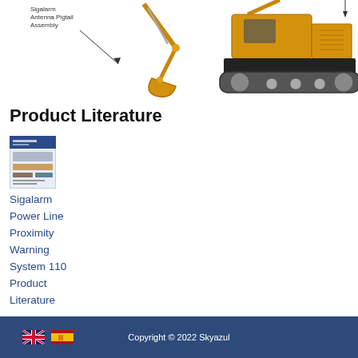[Figure (illustration): Left side: partial view of yellow excavator arm/bucket with label 'Sigalarm Antenna Pigtail Assembly' and an arrow pointing to a component. Right side: full side-view of a yellow tracked excavator on white background.]
Product Literature
[Figure (photo): Small thumbnail image of a product literature document/brochure showing the Sigalarm Power Line Proximity Warning System 110.]
Sigalarm
Power Line
Proximity
Warning
System 110
Product
Literature
Copyright © 2022 Skyazul